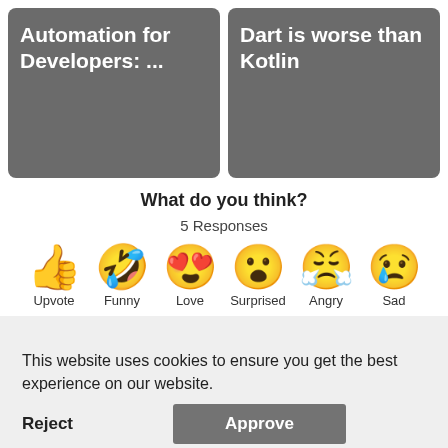[Figure (screenshot): Two article cards with dark gray background: 'Automation for Developers: ...' and 'Dart is worse than Kotlin']
What do you think?
5 Responses
[Figure (infographic): Six emoji reaction options: Upvote (thumbs up), Funny (laughing face), Love (heart eyes), Surprised (shocked face), Angry (crying/angry face), Sad (sad face with tear)]
This website uses cookies to ensure you get the best experience on our website.
Learn more
Reject
Approve